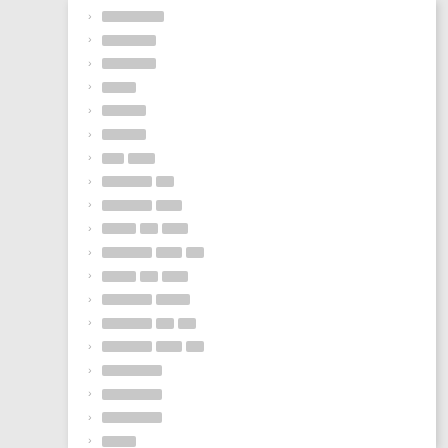▇▇▇▇▇▇▇
▇▇▇▇▇▇
▇▇▇▇
▇▇▇▇▇
▇▇▇▇▇
▇▇ ▇▇▇
▇▇▇▇▇▇ ▇▇
▇▇▇▇▇▇ ▇▇▇
▇▇▇▇ ▇▇ ▇▇▇
▇▇▇▇▇▇ ▇▇▇ ▇▇
▇▇▇▇ ▇▇ ▇▇▇
▇▇▇▇▇▇ ▇▇▇▇
▇▇▇▇▇▇ ▇▇ ▇▇
▇▇▇▇▇▇ ▇▇▇ ▇▇
▇▇▇▇▇▇▇
▇▇▇▇▇▇▇
▇▇▇▇▇▇▇
▇▇▇▇